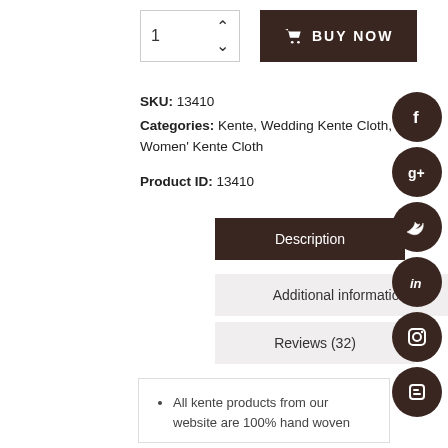[Figure (screenshot): Quantity input box showing '1' with up/down arrows, and a dark brown 'BUY NOW' button with cart icon]
SKU: 13410
Categories: Kente, Wedding Kente Cloth, Women' Kente Cloth
Product ID: 13410
Description
Additional information
Reviews (32)
All kente products from our website are 100% hand woven
[Figure (screenshot): Social media icons (Facebook, Google+, Twitter, LinkedIn, Instagram, Blogger) in dark brown circles on right side]